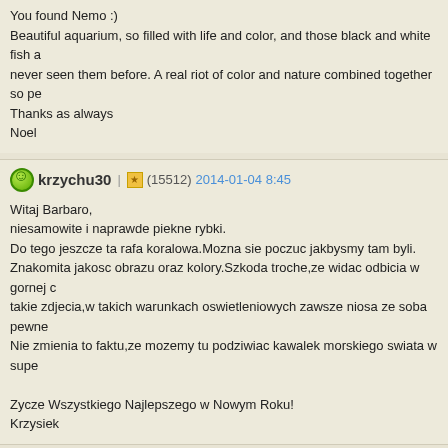You found Nemo :)
Beautiful aquarium, so filled with life and color, and those black and white fish a never seen them before. A real riot of color and nature combined together so pe Thanks as always
Noel
krzychu30 | (15512) 2014-01-04 8:45

Witaj Barbaro,
niesamowite i naprawde piekne rybki.
Do tego jeszcze ta rafa koralowa.Mozna sie poczuc jakbysmy tam byli.
Znakomita jakosc obrazu oraz kolory.Szkoda troche,ze widac odbicia w gornej c takie zdjecia,w takich warunkach oswietleniowych zawsze niosa ze soba pewne Nie zmienia to faktu,ze mozemy tu podziwiac kawalek morskiego swiata w supe

Zycze Wszystkiego Najlepszego w Nowym Roku!
Krzysiek
bona (15057) 2014-01-05 16:18

Hello Barbara,

a very beautiful aquarium! Love the clow fishes. Sea live is very impressive with

Regards
Andre